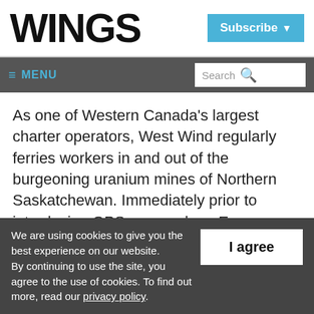WINGS
Subscribe
≡ MENU | Search
As one of Western Canada's largest charter operators, West Wind regularly ferries workers in and out of the burgeoning uranium mines of Northern Saskatchewan. Immediately prior to introducing GPS approaches, Epp
We are using cookies to give you the best experience on our website. By continuing to use the site, you agree to the use of cookies. To find out more, read our privacy policy.